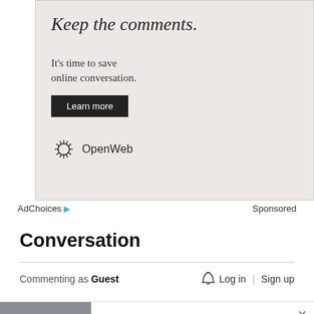[Figure (screenshot): Advertisement box with light pink/beige background. Contains italic serif headline 'Keep the comments.', body text 'It’s time to save online conversation.', a dark 'Learn more' button, and the OpenWeb logo with sunburst icon.]
AdChoices ▷  Sponsored
Conversation
Commenting as Guest   🔔 Log in | Sign up
[Figure (photo): Bottom advertisement banner showing a doorbell camera photo on the left and ad copy on the right: 'Homeowners Are Trading In Their Doorbell Cams For This' by Maxi Advice | Sponsored]